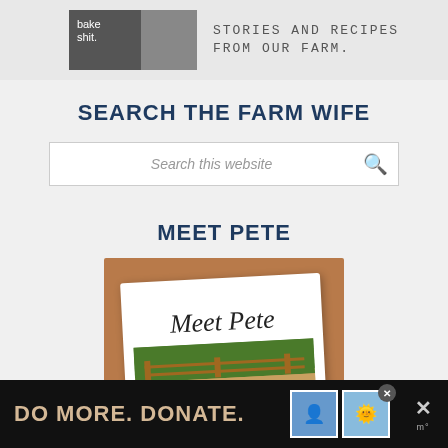[Figure (photo): Top banner area with photos of person wearing 'bake shit' shirt and handwritten text 'STORIES AND RECIPES FROM OUR FARM.']
SEARCH THE FARM WIFE
[Figure (screenshot): Search box with italic placeholder text 'Search this website' and a magnifying glass icon on the right]
MEET PETE
[Figure (photo): Photo of a 'Meet Pete' booklet/card on a wooden surface, showing handwritten-style cursive title 'Meet Pete' and a farm scene with fence]
[Figure (other): Advertisement banner at bottom: dark background with text 'DO MORE. DONATE.' in beige/gold, two small images of people, a close button, and an X icon with 'm°' text on right]